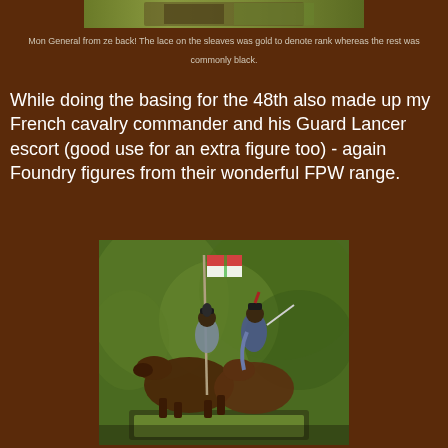[Figure (photo): Partial view of a painted miniature figure (Mon General from the back) on a brown background, cropped at top of page]
Mon General from ze back!  The lace on the sleaves was gold to denote rank whereas the rest was commonly black.
While doing the basing for the 48th also made up my French cavalry commander and his Guard Lancer escort (good use for an extra figure too) - again Foundry figures from their wonderful FPW range.
[Figure (photo): Painted miniature figures of a French cavalry commander and Guard Lancer escort on horseback, with a flag/lance, mounted on a green grassed base, with foliage background]